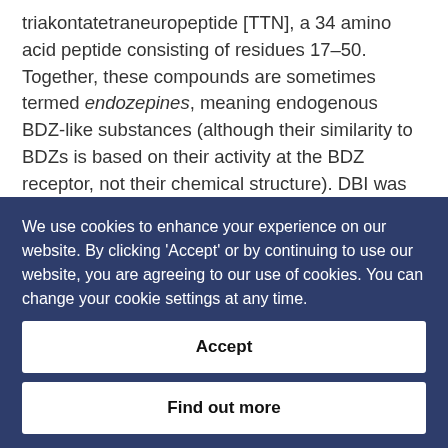triakontatetraneuropeptide [TTN], a 34 amino acid peptide consisting of residues 17–50. Together, these compounds are sometimes termed endozepines, meaning endogenous BDZ-like substances (although their similarity to BDZs is based on their activity at the BDZ receptor, not their chemical structure). DBI was isolated from rat brain 30 years ago on the basis of its ability to inhibit diazepam
We use cookies to enhance your experience on our website. By clicking 'Accept' or by continuing to use our website, you are agreeing to our use of cookies. You can change your cookie settings at any time.
Accept
Find out more